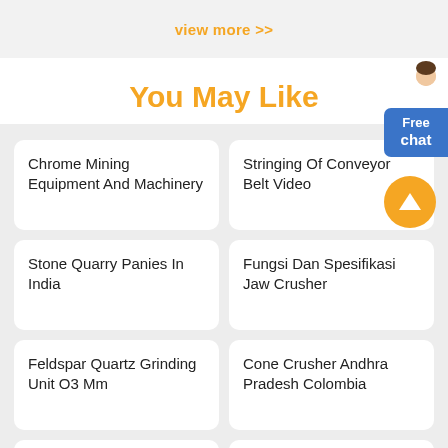view more >>
You May Like
Chrome Mining Equipment And Machinery
Stringing Of Conveyor Belt Video
Stone Quarry Panies In India
Fungsi Dan Spesifikasi Jaw Crusher
Feldspar Quartz Grinding Unit O3 Mm
Cone Crusher Andhra Pradesh Colombia
Small Rock Grinding Machinery
Durable Rock Ball Mill Pe500 750